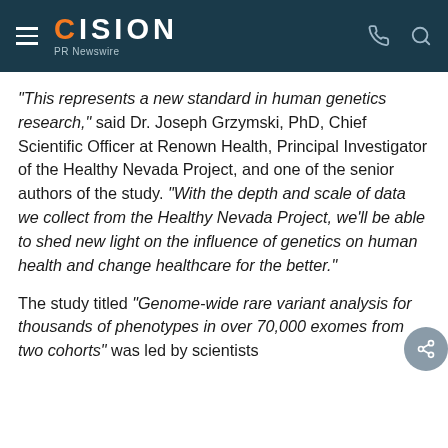CISION PR Newswire
"This represents a new standard in human genetics research," said Dr. Joseph Grzymski, PhD, Chief Scientific Officer at Renown Health, Principal Investigator of the Healthy Nevada Project, and one of the senior authors of the study. "With the depth and scale of data we collect from the Healthy Nevada Project, we'll be able to shed new light on the influence of genetics on human health and change healthcare for the better."
The study titled "Genome-wide rare variant analysis for thousands of phenotypes in over 70,000 exomes from two cohorts" was led by scientists